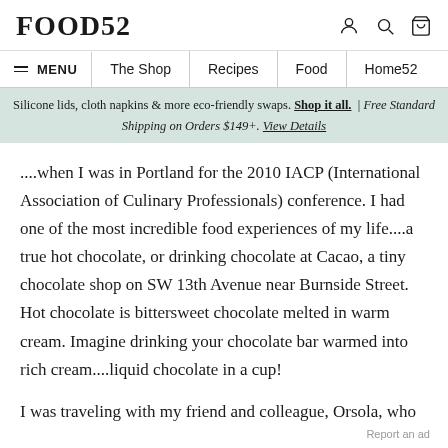FOOD52
MENU | The Shop | Recipes | Food | Home52
Silicone lids, cloth napkins & more eco-friendly swaps. Shop it all. | Free Standard Shipping on Orders $149+. View Details
....when I was in Portland for the 2010 IACP (International Association of Culinary Professionals) conference. I had one of the most incredible food experiences of my life....a true hot chocolate, or drinking chocolate at Cacao, a tiny chocolate shop on SW 13th Avenue near Burnside Street. Hot chocolate is bittersweet chocolate melted in warm cream. Imagine drinking your chocolate bar warmed into rich cream....liquid chocolate in a cup!
I was traveling with my friend and colleague, Orsola, who
Report an ad